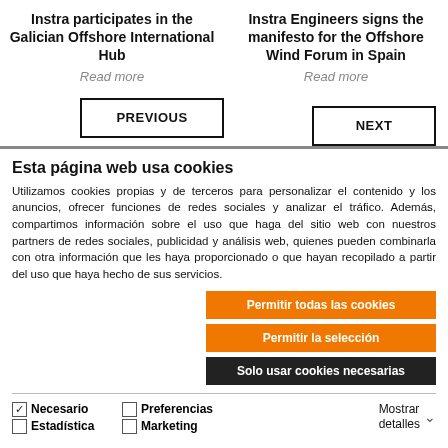Instra participates in the Galician Offshore International Hub
Read more
Instra Engineers signs the manifesto for the Offshore Wind Forum in Spain
Read more
PREVIOUS
NEXT
Esta página web usa cookies
Utilizamos cookies propias y de terceros para personalizar el contenido y los anuncios, ofrecer funciones de redes sociales y analizar el tráfico. Además, compartimos información sobre el uso que haga del sitio web con nuestros partners de redes sociales, publicidad y análisis web, quienes pueden combinarla con otra información que les haya proporcionado o que hayan recopilado a partir del uso que haya hecho de sus servicios.
Permitir todas las cookies
Permitir la selección
Solo usar cookies necesarias
Necesario  Preferencias  Estadística  Marketing  Mostrar detalles